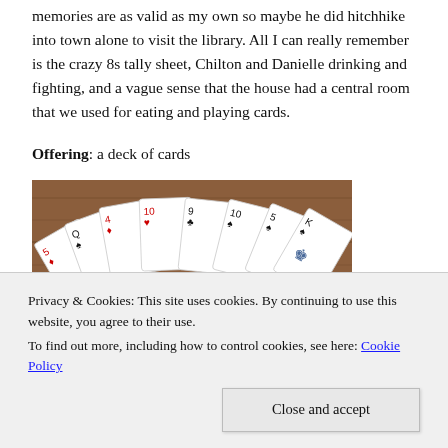memories are as valid as my own so maybe he did hitchhike into town alone to visit the library. All I can really remember is the crazy 8s tally sheet, Chilton and Danielle drinking and fighting, and a vague sense that the house had a central room that we used for eating and playing cards.
Offering: a deck of cards
[Figure (photo): A fan of playing cards spread out on a wooden surface, showing cards including 7 of clubs, 5 of diamonds, Q of spades, 4 of diamonds, 10 of hearts, 9 of clubs, and other cards including a King.]
Privacy & Cookies: This site uses cookies. By continuing to use this website, you agree to their use.
To find out more, including how to control cookies, see here: Cookie Policy
Close and accept